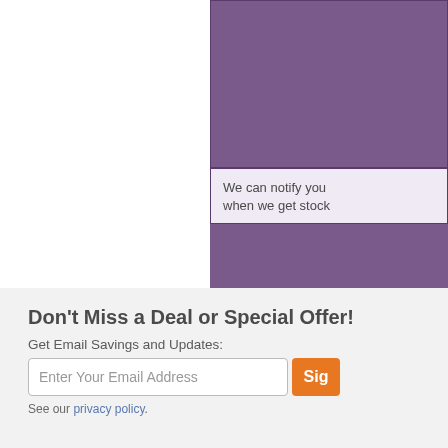We can notify you when we get stock
We can notify you when the price drops:
Protect Your P
Click to View all our
Don't Miss a Deal or Special Offer!
Get Email Savings and Updates:
See our privacy policy.